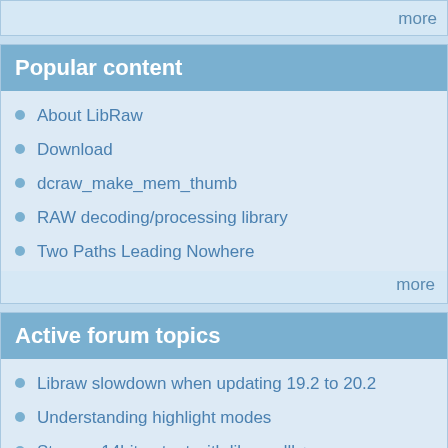more
Popular content
About LibRaw
Download
dcraw_make_mem_thumb
RAW decoding/processing library
Two Paths Leading Nowhere
more
Active forum topics
Libraw slowdown when updating 19.2 to 20.2
Understanding highlight modes
Strange 14bit output with libraw.dll + unprocessed_raw.exe
EOS R series camera support